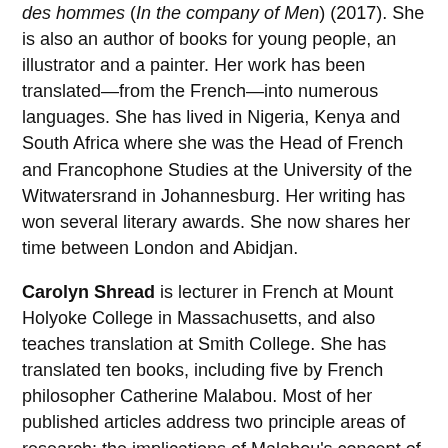des hommes (In the company of Men) (2017). She is also an author of books for young people, an illustrator and a painter. Her work has been translated—from the French—into numerous languages. She has lived in Nigeria, Kenya and South Africa where she was the Head of French and Francophone Studies at the University of the Witwatersrand in Johannesburg. Her writing has won several literary awards. She now shares her time between London and Abidjan.
Carolyn Shread is lecturer in French at Mount Holyoke College in Massachusetts, and also teaches translation at Smith College. She has translated ten books, including five by French philosopher Catherine Malabou. Most of her published articles address two principle areas of research: the implications of Malabou's concept of plasticity for translation studies and the process of translating Haitian author Marie Vieux-Chauvet's Les Rapaces from French into English. She has a longstanding interest in feminist translation and recently wrote an entry on "Translating Feminist Philosophers" for the Routledge Handbook of